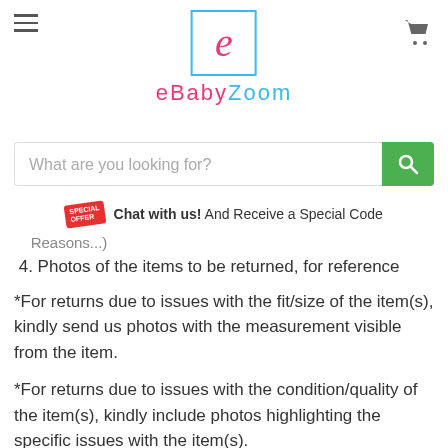eBabyZoom
Reasons...)
4. Photos of the items to be returned, for reference
*For returns due to issues with the fit/size of the item(s), kindly send us photos with the measurement visible from the item.
*For returns due to issues with the condition/quality of the item(s), kindly include photos highlighting the specific issues with the item(s).
Step 2: Our Customer Service Representatives will get back to